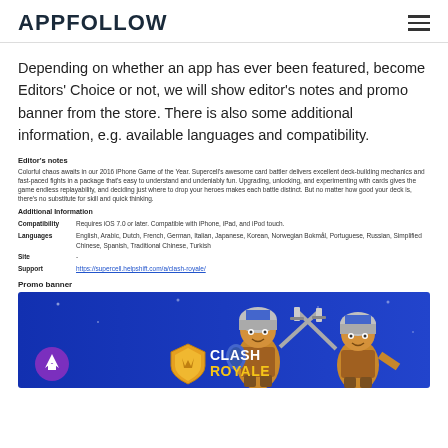APPFOLLOW
Depending on whether an app has ever been featured, become Editors' Choice or not, we will show editor's notes and promo banner from the store. There is also some additional information, e.g. available languages and compatibility.
Editor's notes
Colorful chaos awaits in our 2016 iPhone Game of the Year. Supercell's awesome card battler delivers excellent deck-building mechanics and fast-paced fights in a package that's easy to understand and undeniably fun. Upgrading, unlocking, and experimenting with cards gives the game endless replayability, and deciding just where to drop your heroes makes each battle distinct. But no matter how good your deck is, there's no substitute for skill and quick thinking.
Additional Information
Compatibility: Requires iOS 7.0 or later. Compatible with iPhone, iPad, and iPod touch.
Languages: English, Arabic, Dutch, French, German, Italian, Japanese, Korean, Norwegian Bokmål, Portuguese, Russian, Simplified Chinese, Spanish, Traditional Chinese, Turkish
Site: -
Support: https://supercell.helpshift.com/a/clash-royale/
Promo banner
[Figure (screenshot): Clash Royale promo banner with blue background showing two armored warrior characters with swords and the Clash Royale logo]